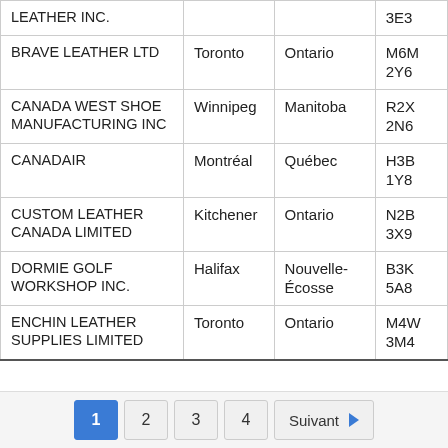| Company | City | Province | Postal Code |
| --- | --- | --- | --- |
| LEATHER INC. |  |  | 3E3 |
| BRAVE LEATHER LTD | Toronto | Ontario | M6M 2Y6 |
| CANADA WEST SHOE MANUFACTURING INC | Winnipeg | Manitoba | R2X 2N6 |
| CANADAIR | Montréal | Québec | H3B 1Y8 |
| CUSTOM LEATHER CANADA LIMITED | Kitchener | Ontario | N2B 3X9 |
| DORMIE GOLF WORKSHOP INC. | Halifax | Nouvelle-Écosse | B3K 5A8 |
| ENCHIN LEATHER SUPPLIES LIMITED | Toronto | Ontario | M4W 3M4 |
Pagination: 1, 2, 3, 4, Suivant